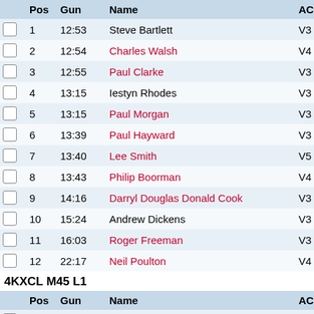|  | Pos | Gun | Name | AC |
| --- | --- | --- | --- | --- |
|  | 1 | 12:53 | Steve Bartlett | V3 |
|  | 2 | 12:54 | Charles Walsh | V4 |
|  | 3 | 12:55 | Paul Clarke | V3 |
|  | 4 | 13:15 | Iestyn Rhodes | V3 |
|  | 5 | 13:15 | Paul Morgan | V3 |
|  | 6 | 13:39 | Paul Hayward | V3 |
|  | 7 | 13:40 | Lee Smith | V5 |
|  | 8 | 13:43 | Philip Boorman | V4 |
|  | 9 | 14:16 | Darryl Douglas Donald Cook | V3 |
|  | 10 | 15:24 | Andrew Dickens | V3 |
|  | 11 | 16:03 | Roger Freeman | V3 |
|  | 12 | 22:17 | Neil Poulton | V4 |
4KXCL M45 L1
|  | Pos | Gun | Name | AC |
| --- | --- | --- | --- | --- |
|  | 1 | 12:09 | Huw Evans | V4 |
|  | 2 | 12:12 | Lee Aherne | V5 |
|  | 3 | 12:29 | Mike Pfeiffer | V5 |
|  | 4 | 12:47 | Rich Foster | V4 |
|  | 5 | 14:09 | Steven Smith | V4 |